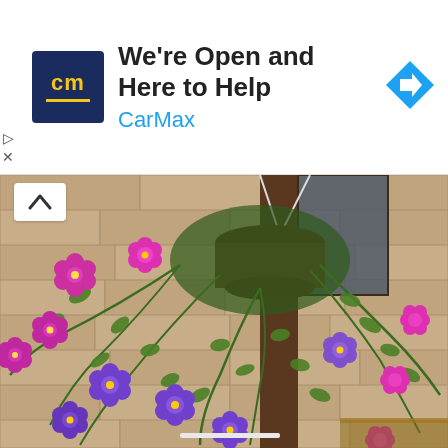[Figure (screenshot): CarMax advertisement banner showing 'We're Open and Here to Help' with CarMax logo (dark blue square with yellow 'cm' text), the brand name in blue, and a blue diamond navigation arrow icon on the right. A play button and X icon appear on the left edge.]
[Figure (photo): Photograph of a hanging basket planter with purple and magenta calibrachoa and verbena flowers cascading down, mounted on a brown wooden structure next to tan/beige shingle siding of a house. Green foliage visible throughout with a window in the background.]